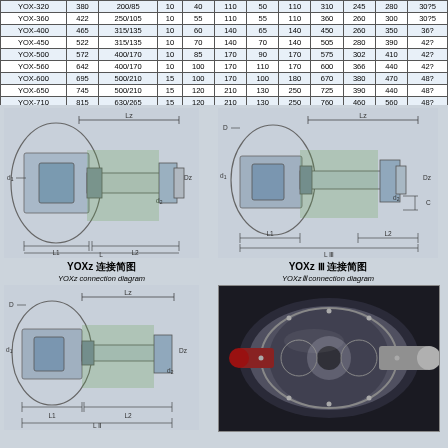| Model | D | Torque | n | d1 | L1 | d2 | L2 | L | C | LII | Weight |
| --- | --- | --- | --- | --- | --- | --- | --- | --- | --- | --- | --- |
| YOX-320 | 380 | 200/85 | 10 | 40 | 110 | 50 | 110 | 310 | 245 | 280 | 30?5 |
| YOX-360 | 422 | 250/105 | 10 | 55 | 110 | 55 | 110 | 360 | 260 | 300 | 30?5 |
| YOX-400 | 465 | 315/135 | 10 | 60 | 140 | 65 | 140 | 450 | 260 | 350 | 36? |
| YOX-450 | 522 | 315/135 | 10 | 70 | 140 | 70 | 140 | 505 | 280 | 390 | 42? |
| YOX-500 | 572 | 400/170 | 10 | 85 | 170 | 90 | 170 | 575 | 302 | 410 | 42? |
| YOX-560 | 642 | 400/170 | 10 | 100 | 170 | 110 | 170 | 600 | 366 | 440 | 42? |
| YOX-600 | 695 | 500/210 | 15 | 100 | 170 | 100 | 180 | 670 | 380 | 470 | 48? |
| YOX-650 | 745 | 500/210 | 15 | 120 | 210 | 130 | 250 | 725 | 390 | 440 | 48? |
| YOX-710 | 815 | 630/265 | 15 | 120 | 210 | 130 | 250 | 760 | 460 | 560 | 48? |
| YOX-750 | 850 | 630/265 | 20 | 140 | 250 | 150 | 250 | 800 | 520 | 580 | 56? |
[Figure (engineering-diagram): YOXz connection diagram - cross-section engineering drawing showing fluid coupling with dimension labels L1, L2, L, d1, d2, Dz]
YOXz 连接简图 / YOXz connection diagram
[Figure (engineering-diagram): YOXz III connection diagram - cross-section engineering drawing showing fluid coupling with dimension labels L1, L2, LIII, C, d1, d2, Dz, D]
YOXz Ⅲ 连接简图 / YOXzⅢ connection diagram
[Figure (engineering-diagram): YOXz II connection diagram (partial) - cross-section engineering drawing showing fluid coupling with dimension labels L1, L2, LII, d1, d2, Dz, D]
[Figure (photo): Photograph of a YOX fluid coupling unit showing the actual product]